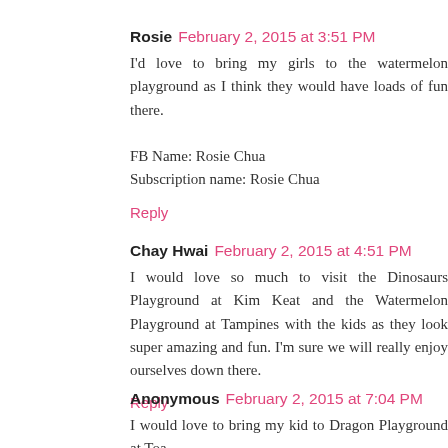Rosie  February 2, 2015 at 3:51 PM
I'd love to bring my girls to the watermelon playground as I think they would have loads of fun there.

FB Name: Rosie Chua
Subscription name: Rosie Chua
Reply
Chay Hwai  February 2, 2015 at 4:51 PM
I would love so much to visit the Dinosaurs Playground at Kim Keat and the Watermelon Playground at Tampines with the kids as they look super amazing and fun. I'm sure we will really enjoy ourselves down there.
Reply
Anonymous  February 2, 2015 at 7:04 PM
I would love to bring my kid to Dragon Playground at Toa...